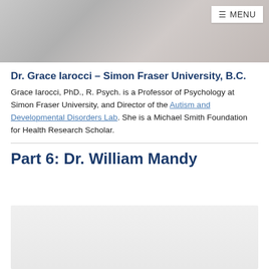[Figure (photo): Hero banner image showing a blurred background person, with a MENU button in the top right corner]
Dr. Grace Iarocci – Simon Fraser University, B.C.
Grace Iarocci, PhD., R. Psych. is a Professor of Psychology at Simon Fraser University, and Director of the Autism and Developmental Disorders Lab. She is a Michael Smith Foundation for Health Research Scholar.
Part 6: Dr. William Mandy
[Figure (photo): Photo placeholder for Dr. William Mandy]